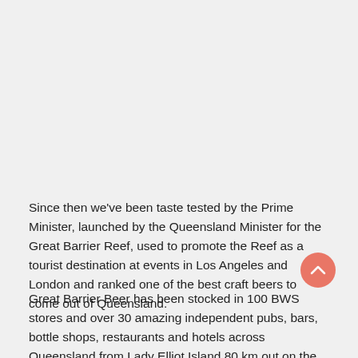Since then we've been taste tested by the Prime Minister, launched by the Queensland Minister for the Great Barrier Reef, used to promote the Reef as a tourist destination at events in Los Angeles and London and ranked one of the best craft beers to come out of Queensland.
Great Barrier Beer has been stocked in 100 BWS stores and over 30 amazing independent pubs, bars, bottle shops, restaurants and hotels across Queensland from Lady Elliot Island 80 km out on the Reef to Esquire restaurant in the heart of Brisbane's CBD.